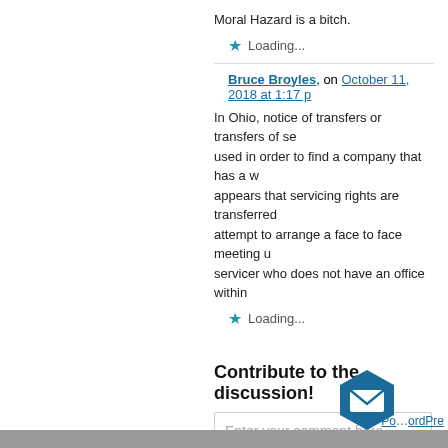Moral Hazard is a bitch.
Loading...
Bruce Broyles, on October 11, 2018 at 1:17 pm
In Ohio, notice of transfers or transfers of se... used in order to find a company that has a w... appears that servicing rights are transferred... attempt to arrange a face to face meeting u... servicer who does not have an office within...
Loading...
Contribute to the discussion!
Enter your comment here...
Powered by WordPress